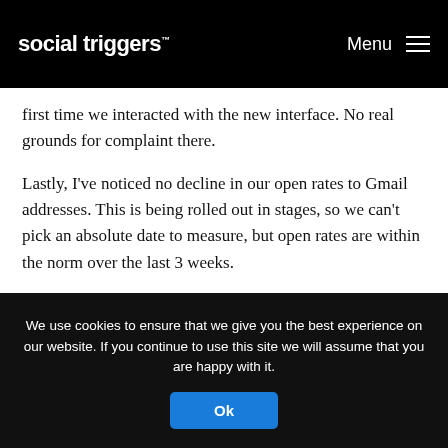social triggers ™  Menu ≡
first time we interacted with the new interface. No real grounds for complaint there.
Lastly, I've noticed no decline in our open rates to Gmail addresses. This is being rolled out in stages, so we can't pick an absolute date to measure, but open rates are within the norm over the last 3 weeks.
Much ado about nothing?
Now, if one wanted to continue to speculate about motives, one could also argue that a great way to generate traffic and blog comments is to create controversy around the new release of a popular software tool from a major company … 🙂
We use cookies to ensure that we give you the best experience on our website. If you continue to use this site we will assume that you are happy with it. Ok